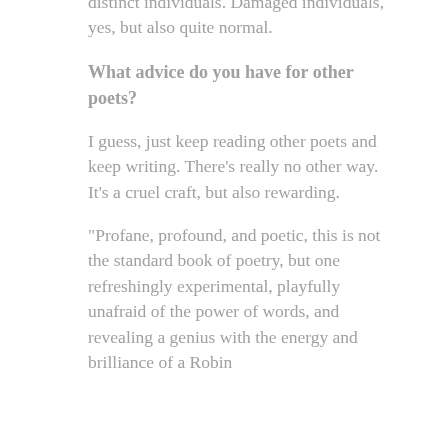distinct individuals. Damaged individuals, yes, but also quite normal.
What advice do you have for other poets?
I guess, just keep reading other poets and keep writing. There’s really no other way. It’s a cruel craft, but also rewarding.
“Profane, profound, and poetic, this is not the standard book of poetry, but one refreshingly experimental, playfully unafraid of the power of words, and revealing a genius with the energy and brilliance of a Robin